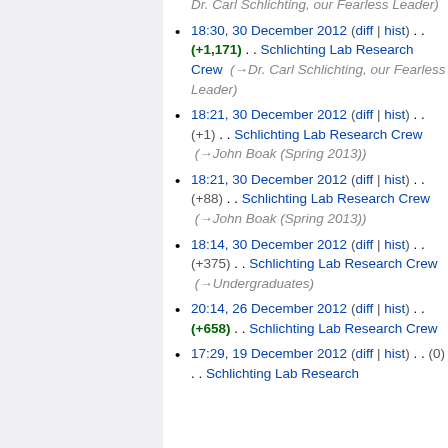(→Dr. Carl Schlichting, our Fearless Leader)
18:30, 30 December 2012 (diff | hist) . . (+1,171) . . Schlichting Lab Research Crew (→Dr. Carl Schlichting, our Fearless Leader)
18:21, 30 December 2012 (diff | hist) . . (+1) . . Schlichting Lab Research Crew (→John Boak (Spring 2013))
18:21, 30 December 2012 (diff | hist) . . (+88) . . Schlichting Lab Research Crew (→John Boak (Spring 2013))
18:14, 30 December 2012 (diff | hist) . . (+375) . . Schlichting Lab Research Crew (→Undergraduates)
20:14, 26 December 2012 (diff | hist) . . (+658) . . Schlichting Lab Research Crew
17:29, 19 December 2012 (diff | hist) . . (0) . . Schlichting Lab Research